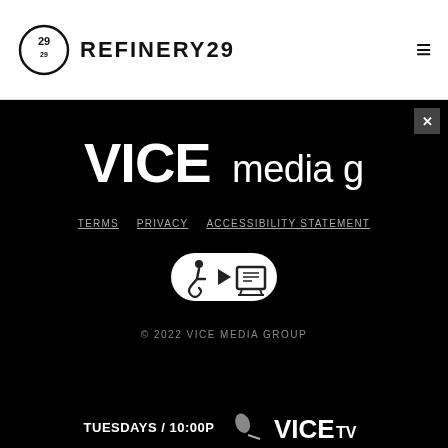[Figure (logo): Refinery29 logo with circular 29 icon and text REFINERY29]
[Figure (logo): VICE media group logo in white on black background]
TERMS   PRIVACY   ACCESSIBILITY STATEMENT
[Figure (logo): Accessibility icon badge with wheelchair, play, and screen symbols]
© 2022 VICE MEDIA GROUP
[Figure (logo): Bottom bar showing TUESDAYS / 10:00P with microphone image and VICE TV logo]